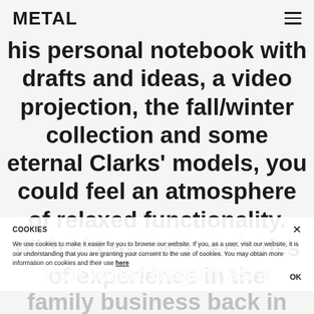METAL
his personal notebook with drafts and ideas, a video projection, the fall/winter collection and some eternal Clarks' models, you could feel an atmosphere of relaxed functionality. With almost two centuries of experience in the industry, one can't doubt that what begun as a family business back in [1825, and continued by] reached world domination thanks to its constant wish to design for real
COOKIES
We use cookies to make it easier for you to browse our website. If you, as a user, visit our website, it is our understanding that you are granting your consent to the use of cookies. You may obtain more information on cookies and their use here
OK